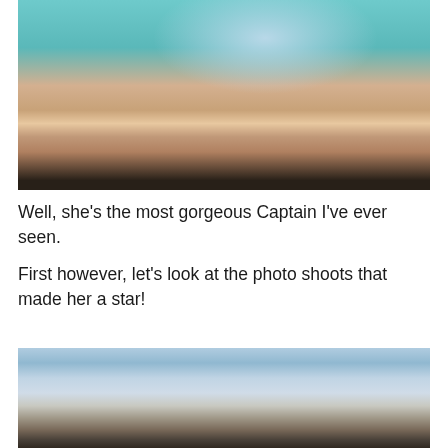[Figure (photo): Photo of people on a sailboat deck, turquoise water visible in background, person in red bikini]
Well, she’s the most gorgeous Captain I’ve ever seen.
First however, let’s look at the photo shoots that made her a star!
[Figure (photo): Photo of a woman with dark hair outdoors against a blue cloudy sky]